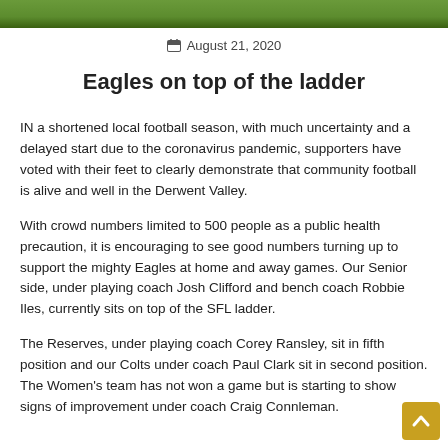[Figure (photo): Top portion of a sports photo showing a green football field]
August 21, 2020
Eagles on top of the ladder
IN a shortened local football season, with much uncertainty and a delayed start due to the coronavirus pandemic, supporters have voted with their feet to clearly demonstrate that community football is alive and well in the Derwent Valley.
With crowd numbers limited to 500 people as a public health precaution, it is encouraging to see good numbers turning up to support the mighty Eagles at home and away games. Our Senior side, under playing coach Josh Clifford and bench coach Robbie Iles, currently sits on top of the SFL ladder.
The Reserves, under playing coach Corey Ransley, sit in fifth position and our Colts under coach Paul Clark sit in second position. The Women's team has not won a game but is starting to show signs of improvement under coach Craig Connleman.